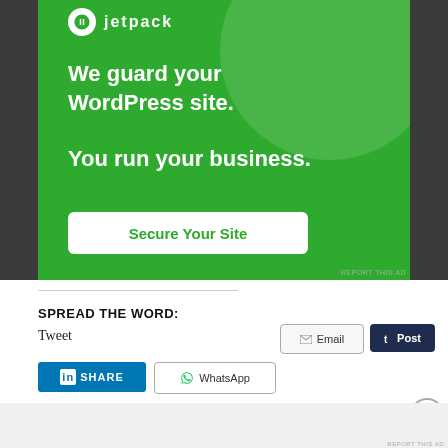[Figure (screenshot): Jetpack advertisement banner with green background. Shows Jetpack logo at top, text 'We guard your WordPress site. You run your business.' with a 'Secure Your Site' button.]
SPREAD THE WORD:
Tweet
Email
Post
SHARE
WhatsApp
Advertisements
[Figure (screenshot): Victoria's Secret advertisement banner with pink gradient background, model photo on left, VS logo in center, 'SHOP THE COLLECTION' text, and 'SHOP NOW' white button on right.]